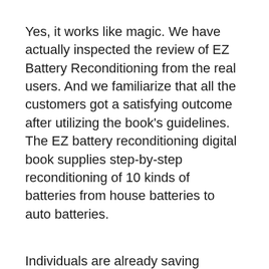Yes, it works like magic. We have actually inspected the review of EZ Battery Reconditioning from the real users. And we familiarize that all the customers got a satisfying outcome after utilizing the book’s guidelines. The EZ battery reconditioning digital book supplies step-by-step reconditioning of 10 kinds of batteries from house batteries to auto batteries.
Individuals are already saving numerous bucks yearly as they do not require to purchase brand-new batteries anytime quickly. Nonetheless, the only thing they have to purchase is a device needed to